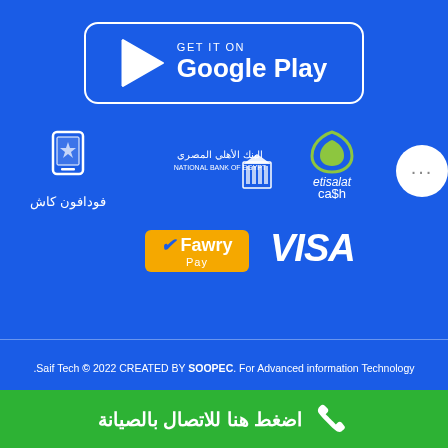[Figure (logo): Google Play store download button with white border rounded rectangle, play triangle icon, text GET IT ON Google Play in white on blue background]
[Figure (illustration): Payment method logos on blue background: Vodafone Cash (mobile icon with Arabic text فودافون كاش), National Bank of Egypt (Arabic text with bank building logo), Etisalat Cash (Etisalat logo green teardrop), more button (...), Fawry Pay (yellow rounded badge), VISA (white italic bold text)]
.Saif Tech © 2022 CREATED BY SOOPEC. For Advanced information Technology
اضغط هنا للاتصال بالصيانة